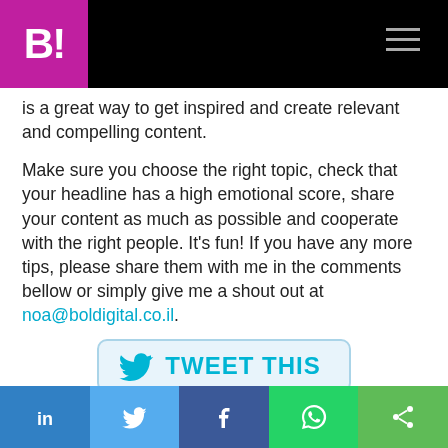[Figure (logo): B! logo on pink/magenta background with black navigation bar and hamburger menu icon]
is a great way to get inspired and create relevant and compelling content.
Make sure you choose the right topic, check that your headline has a high emotional score, share your content as much as possible and cooperate with the right people. It's fun! If you have any more tips, please share them with me in the comments bellow or simply give me a shout out at noa@boldigital.co.il.
[Figure (screenshot): TWEET THIS button with Twitter bird icon]
Bonus PR tip: It's always a good idea to keep building
[Figure (infographic): Social sharing footer bar with LinkedIn, Twitter, Facebook, WhatsApp, and share icons]